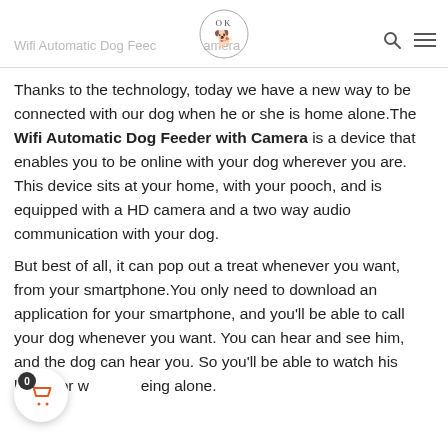Wifi Automatic Dog Feeder with Camera
Thanks to the technology, today we have a new way to be connected with our dog when he or she is home alone.The Wifi Automatic Dog Feeder with Camera is a device that enables you to be online with your dog wherever you are. This device sits at your home, with your pooch, and is equipped with a HD camera and a two way audio communication with your dog.
But best of all, it can pop out a treat whenever you want, from your smartphone.You only need to download an application for your smartphone, and you'll be able to call your dog whenever you want. You can hear and see him, and the dog can hear you. So you'll be able to watch his behavior w being alone.